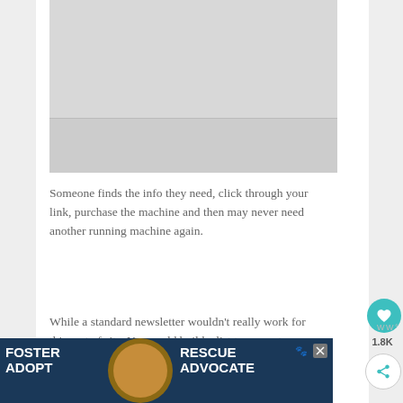[Figure (photo): Gray image placeholder at top of article content area]
Someone finds the info they need, click through your link, purchase the machine and then may never need another running machine again.
While a standard newsletter wouldn't really work for this sort of site. You could build a list to promote related
[Figure (infographic): Advertisement banner: FOSTER ADOPT / RESCUE ADVOCATE with dog image on dark blue background]